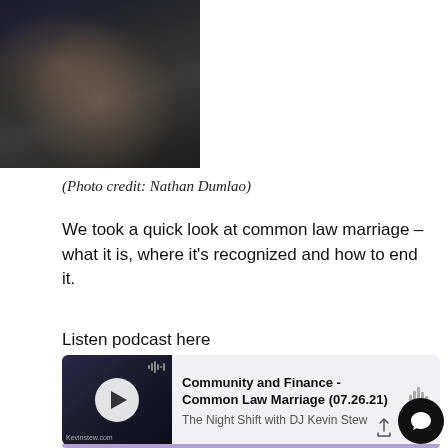[Figure (photo): Close-up photo of hands clasped together with an engagement ring visible, dark moody background]
(Photo credit: Nathan Dumlao)
We took a quick look at common law marriage – what it is, where it's recognized and how to end it.
Listen podcast here
[Figure (screenshot): Podcast player card showing 'Community and Finance - Common Law Marriage (07.26.21)' by The Night Shift with DJ Kevin Stew, with play button and waveform icon]